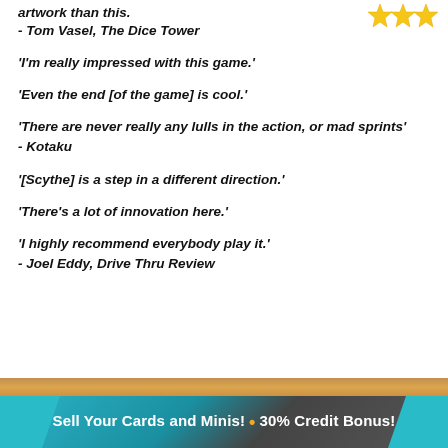artwork than this.
- Tom Vasel, The Dice Tower
'I'm really impressed with this game.'
'Even the end [of the game] is cool.'
'There are never really any lulls in the action, or mad sprints'
- Kotaku
'[Scythe] is a step in a different direction.'
'There's a lot of innovation here.'
'I highly recommend everybody play it.'
- Joel Eddy, Drive Thru Review
[Figure (other): Yellow star rating icon in top right]
Sell Your Cards and Minis! • 30% Credit Bonus!